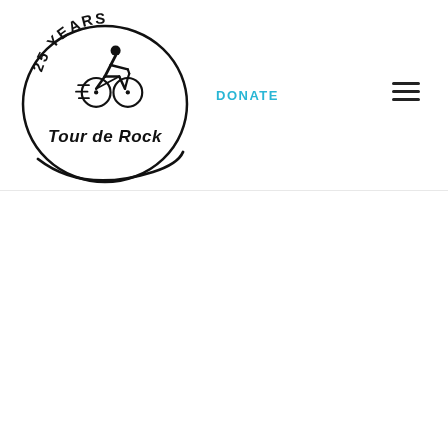[Figure (logo): Tour de Rock 25 Years anniversary logo — a circular emblem with a cyclist silhouette and the text 'Tour de Rock' in bold stylized lettering, with '25 Years' arced along the top]
DONATE
[Figure (other): Hamburger menu icon (three horizontal lines)]